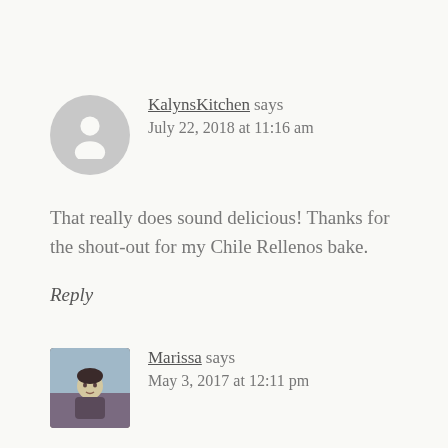[Figure (illustration): Gray circular avatar placeholder with a white silhouette person icon]
KalynsKitchen says
July 22, 2018 at 11:16 am
That really does sound delicious! Thanks for the shout-out for my Chile Rellenos bake.
Reply
[Figure (photo): Small profile photo of a person (Marissa), appears to be a young person with short dark hair wearing a dark top, outdoors background]
Marissa says
May 3, 2017 at 12:11 pm